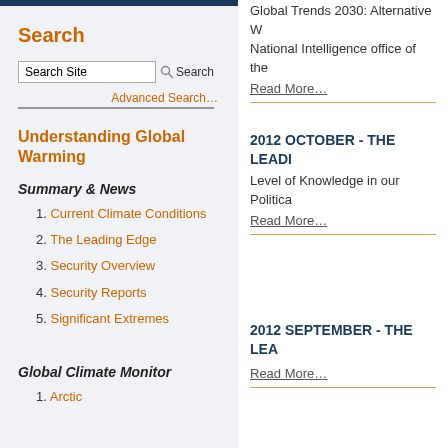Global Trends 2030: Alternative W... National Intelligence office of the...
Read More…
2012 OCTOBER - THE LEADI...
Level of Knowledge in our Politica...
Read More…
2012 SEPTEMBER - THE LEA...
Read More…
Search
Search Site
Advanced Search…
Understanding Global Warming
Summary & News
1. Current Climate Conditions
2. The Leading Edge
3. Security Overview
4. Security Reports
5. Significant Extremes
Global Climate Monitor
1. Arctic